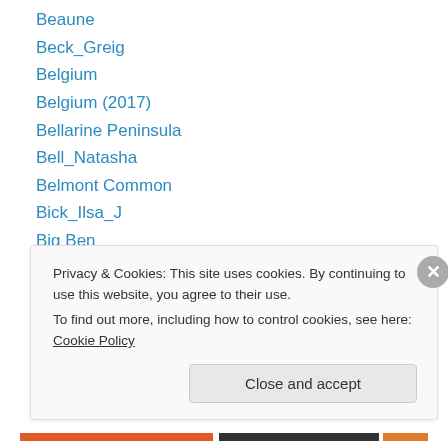Beaune
Beck_Greig
Belgium
Belgium (2017)
Bellarine Peninsula
Bell_Natasha
Belmont Common
Bick_Ilsa_J
Big Ben
Black and White Tuesday
Blue River
Blyde River Canyon Nature Reserve
Bohjalian_Chris
Privacy & Cookies: This site uses cookies. By continuing to use this website, you agree to their use. To find out more, including how to control cookies, see here: Cookie Policy